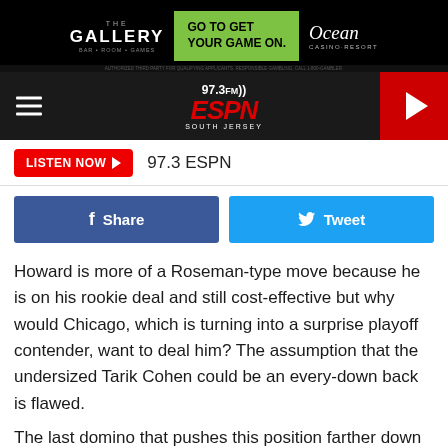[Figure (screenshot): The Gallery bar and Ocean Casino Resort advertisement banner at top]
[Figure (logo): 97.3 FM ESPN South Jersey radio station logo with hamburger menu and play button]
[Figure (screenshot): Listen Now button and 97.3 ESPN station name bar]
[Figure (screenshot): Facebook Share and Twitter Tweet social sharing buttons]
Howard is more of a Roseman-type move because he is on his rookie deal and still cost-effective but why would Chicago, which is turning into a surprise playoff contender, want to deal him? The assumption that the undersized Tarik Cohen could be an every-down back is flawed.
The last domino that pushes this position farther down the
[Figure (screenshot): The Gallery bar and Ocean Casino Resort advertisement banner at bottom]